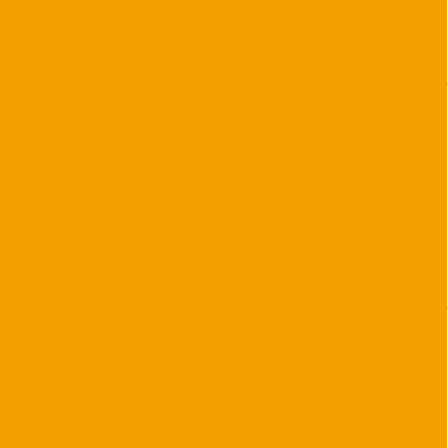that kind of play is unacceptable year.
Stop trying to force a key into
Posted by: WWIN | November 03, 2
[Figure (photo): Avatar photo of a man in a white shirt looking stressed or thinking, hand on forehead]
No way you change qbs at th
Morris is not a good reader o how much of his current thro underthrow of wide open Col
Posted by: mountain cane | N
Aren't those two paragraphs
Posted by: WWIN | November 03, 2
[Figure (illustration): Green spiral/swirl pattern avatar image on black background]
No Willie, they aren't. The fav qb. I know you and many oth unathletic and don't think he
I think Morris gives us the be matters when 7-1.